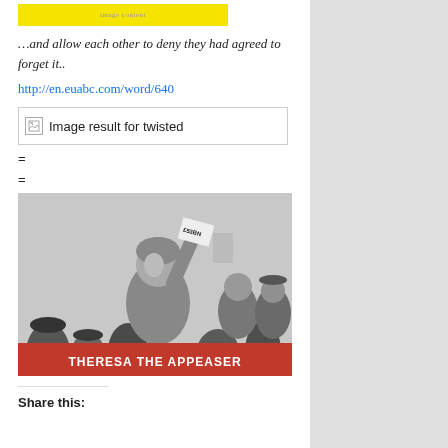[Figure (photo): Yellow highlighted image strip at top of page (partially visible)]
…and allow each other to deny they had agreed to forget it..
http://en.euabc.com/word/640
[Figure (other): Broken image placeholder showing 'Image result for twisted']
=
=
[Figure (photo): Black and white photo of Theresa May holding up a document labeled £53BN in a crowd, with red banner reading THERESA THE APPEASER]
Share this: